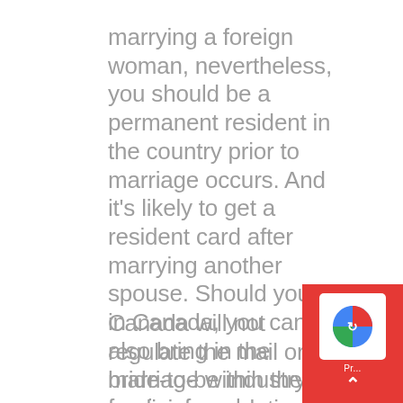marrying a foreign woman, nevertheless, you should be a permanent resident in the country prior to marriage occurs. And it's likely to get a resident card after marrying another spouse. Should you live in Canada, you can also bring in the marriage within the foreign female.
Canada will not regulate the mail order bride-to-be industry. Yet , policies regulating immigration own significantly afflicted the assistance provided by ship order brides to be. Marriages outside the house
[Figure (other): reCAPTCHA widget overlay in bottom-right corner with red background, white checkbox area with blue/red logo, and Pr... text label at bottom]